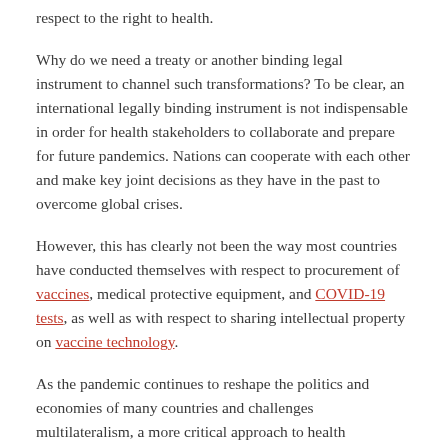respect to the right to health.
Why do we need a treaty or another binding legal instrument to channel such transformations? To be clear, an international legally binding instrument is not indispensable in order for health stakeholders to collaborate and prepare for future pandemics. Nations can cooperate with each other and make key joint decisions as they have in the past to overcome global crises.
However, this has clearly not been the way most countries have conducted themselves with respect to procurement of vaccines, medical protective equipment, and COVID-19 tests, as well as with respect to sharing intellectual property on vaccine technology.
As the pandemic continues to reshape the politics and economies of many countries and challenges multilateralism, a more critical approach to health governance and speedy, scaled response from all